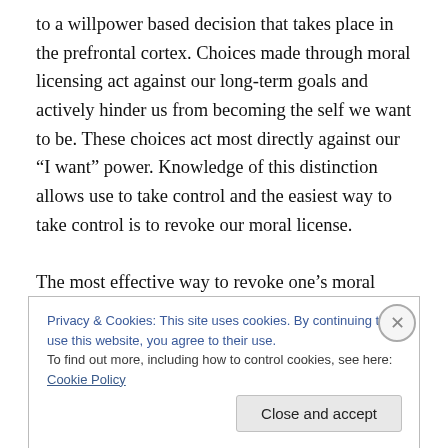to a willpower based decision that takes place in the prefrontal cortex. Choices made through moral licensing act against our long-term goals and actively hinder us from becoming the self we want to be. These choices act most directly against our “I want” power. Knowledge of this distinction allows use to take control and the easiest way to take control is to revoke our moral license.
The most effective way to revoke one’s moral license is not to engage in guilt or shaming for impulsive decisions, but to simply remove the morality of willpower choices. My
Privacy & Cookies: This site uses cookies. By continuing to use this website, you agree to their use.
To find out more, including how to control cookies, see here: Cookie Policy
Close and accept